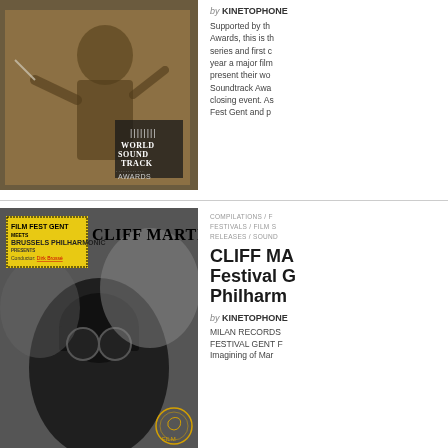[Figure (photo): Sepia-toned photo of a conductor with baton, with World Soundtrack Awards logo overlay]
by KINETOPHONE
Supported by th Awards, this is th series and first c year a major film present their wo Soundtrack Awa closing event. As Fest Gent and p
[Figure (photo): Photo of person in dark helmet and goggles, with Cliff Martinez text overlay and Film Fest Gent / Brussels Philharmonic yellow badge]
COMPILATIONS / F FESTIVALS / FILM S RELEASES / SOUND
CLIFF MA Festival G Philharm
by KINETOPHONE
MILAN RECORDS FESTIVAL GENT F Imagining of Mar